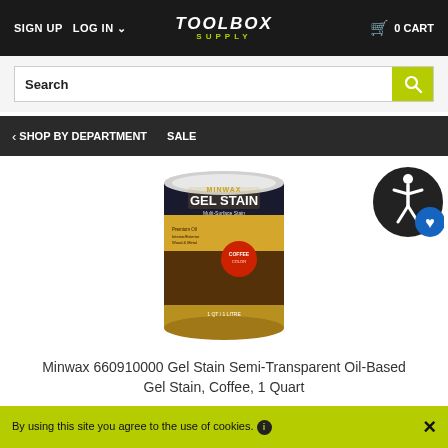SIGN UP  LOG IN  TOOLBOX SUPPLY  0 CART
Search
SHOP BY DEPARTMENT  SALE
[Figure (photo): Minwax Gel Stain can, 1 Quart size, Coffee color, semi-transparent oil-based gel stain with dark wood background on label]
Minwax 660910000 Gel Stain Semi-Transparent Oil-Based Gel Stain, Coffee, 1 Quart
$22.99
By using this site you agree to the use of cookies.